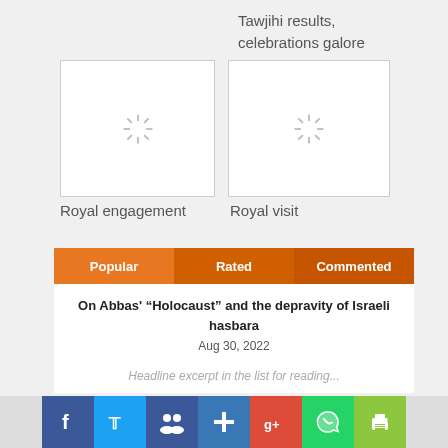Tawjihi results, celebrations galore
[Figure (photo): Loading image placeholder with spinner - Royal engagement]
Royal engagement
[Figure (photo): Loading image placeholder with spinner - Royal visit]
Royal visit
Popular | Rated | Commented
On Abbas' “Holocaust” and the depravity of Israeli hasbara
Aug 30, 2022
[Figure (screenshot): Social media share buttons: Facebook, Twitter, social icon, addition, Google+, WhatsApp, print]